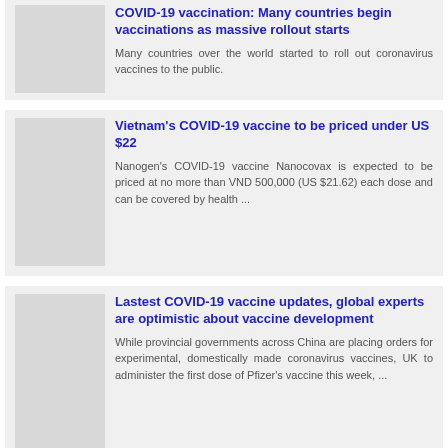COVID-19 vaccination: Many countries begin vaccinations as massive rollout starts
Many countries over the world started to roll out coronavirus vaccines to the public.
Vietnam's COVID-19 vaccine to be priced under US $22
Nanogen's COVID-19 vaccine Nanocovax is expected to be priced at no more than VND 500,000 (US $21.62) each dose and can be covered by health ...
Lastest COVID-19 vaccine updates, global experts are optimistic about vaccine development
While provincial governments across China are placing orders for experimental, domestically made coronavirus vaccines, UK to administer the first dose of Pfizer's vaccine this week, ...